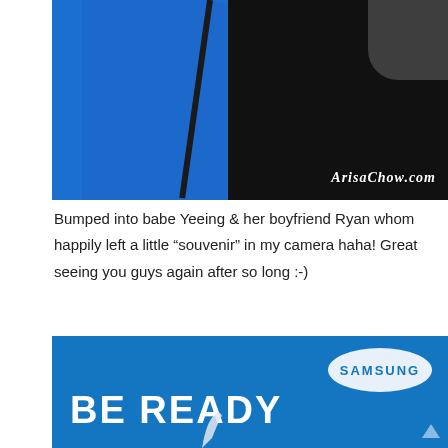[Figure (photo): Two people photographed together — one in a blue polo shirt with a camera strap, and one in a black shirt. Watermark 'ArisaChow.com' in bottom right corner of photo.]
Bumped into babe Yeeing & her boyfriend Ryan whom happily left a little "souvenir" in my camera haha! Great seeing you guys again after so long :-)
[Figure (photo): Samsung advertisement with blue background showing the Samsung logo in white oval and large white text reading 'BE READY' with a partial image of what appears to be a stylus or pen at the bottom.]